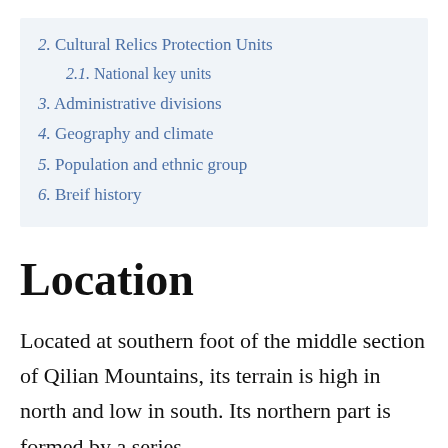2. Cultural Relics Protection Units
2.1. National key units
3. Administrative divisions
4. Geography and climate
5. Population and ethnic group
6. Breif history
Location
Located at southern foot of the middle section of Qilian Mountains, its terrain is high in north and low in south. Its northern part is formed by a series